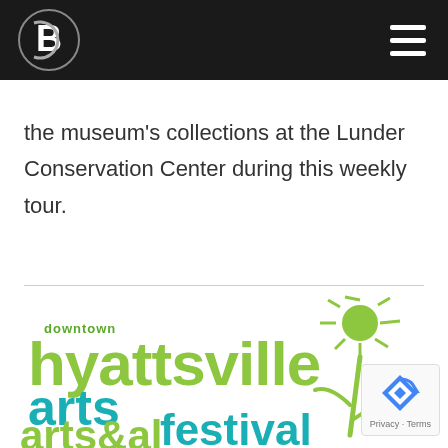Navigation bar with logo and hamburger menu
the museum's collections at the Lunder Conservation Center during this weekly tour.
[Figure (logo): Downtown Hyattsville Arts Festival logo with green and teal lettering and floral/dandelion design elements]